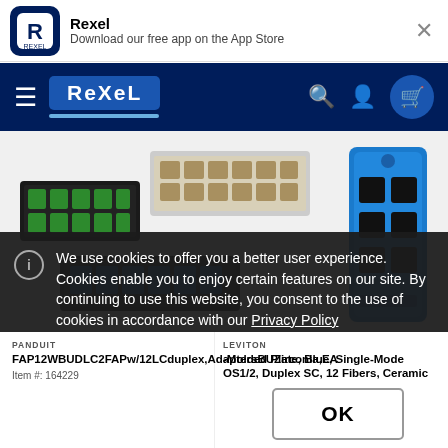Rexel — Download our free app on the App Store
[Figure (screenshot): Rexel website navigation bar with hamburger menu, Rexel logo, search icon, user icon, and cart icon]
[Figure (photo): Fiber optic adapter plates and panels product images — green LC duplex adapters, beige LC adapters, blue LC adapters (left cluster) and blue SC duplex adapter plate (right)]
We use cookies to offer you a better user experience. Cookies enable you to enjoy certain features on our site. By continuing to use this website, you consent to the use of cookies in accordance with our Privacy Policy
PANDUIT
FAP12WBUDLC2FAPw/12LCduplex,AdaptersBUZirconia,EA
LEVITON
-Molded Plate, Blue, Single-Mode OS1/2, Duplex SC, 12 Fibers, Ceramic
Item #: 164229